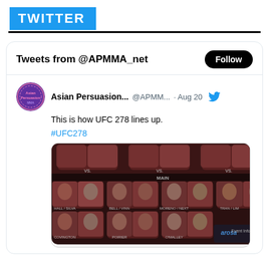TWITTER
Tweets from @APMMA_net
Asian Persuasion... @APMM... · Aug 20
This is how UFC 278 lines up.
#UFC278
[Figure (screenshot): UFC 278 fight card lineup image showing fighter photos arranged in a grid with dark background, fighter names below each photo. Bottom right shows 'arosa' branding and an image counter showing 1.]